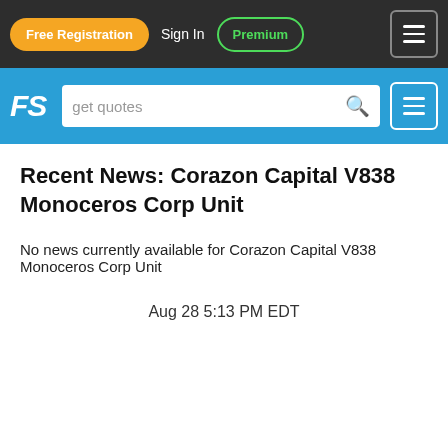Free Registration  Sign In  Premium
[Figure (screenshot): Financial website navigation bar with Free Registration orange button, Sign In text, Premium green outlined button, and hamburger menu icon on dark background]
[Figure (screenshot): FS logo and search bar with 'get quotes' placeholder text on blue background with hamburger menu]
Recent News: Corazon Capital V838 Monoceros Corp Unit
No news currently available for Corazon Capital V838 Monoceros Corp Unit
Aug 28 5:13 PM EDT